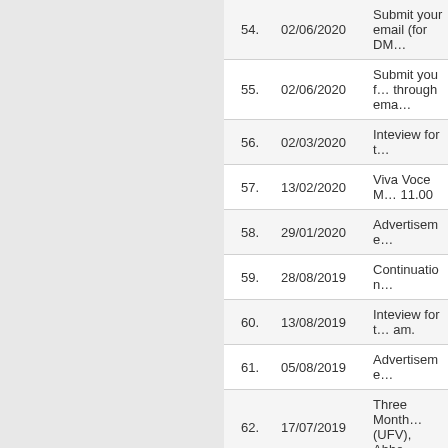| # | Date | Description |
| --- | --- | --- |
| 54. | 02/06/2020 | Submit your email (for DM… |
| 55. | 02/06/2020 | Submit you f… through ema… |
| 56. | 02/03/2020 | Inteview for t… |
| 57. | 13/02/2020 | Viva Voce M… 11.00 |
| 58. | 29/01/2020 | Advertiseme… |
| 59. | 28/08/2019 | Continuation… |
| 60. | 13/08/2019 | Inteview for t… am. |
| 61. | 05/08/2019 | Advertiseme… |
| 62. | 17/07/2019 | Three Month… (UFV), Abbo… |
| 63. | 29/03/2019 | Four-day Int… Population: L… April 24 to Ap… |
| 64. | 28/03/2019 | INCA MAP Q… 10.00 am |
| 65. | 29/01/2019 | Walk-in-Inter… |